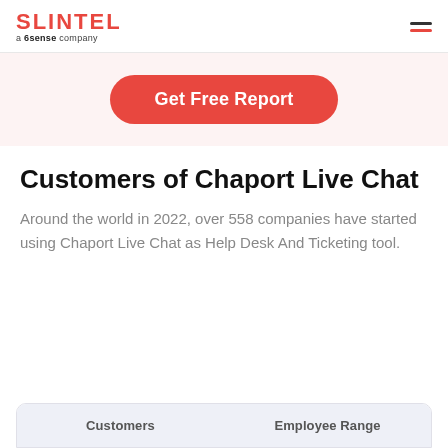SLINTEL a 6sense company
[Figure (other): Get Free Report button on a light pink background]
Customers of Chaport Live Chat
Around the world in 2022, over 558 companies have started using Chaport Live Chat as Help Desk And Ticketing tool.
| Customers | Employee Range |
| --- | --- |